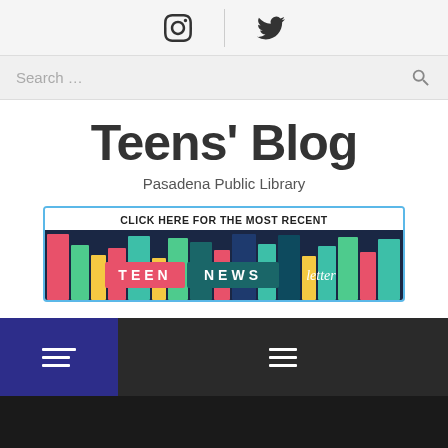Social icons (Instagram, Twitter) and search bar
Teens' Blog
Pasadena Public Library
[Figure (infographic): Banner reading CLICK HERE FOR THE MOST RECENT TEEN NEWSLETTER with colorful book spines]
[Figure (screenshot): Navigation bar with hamburger menus on dark background with purple left panel]